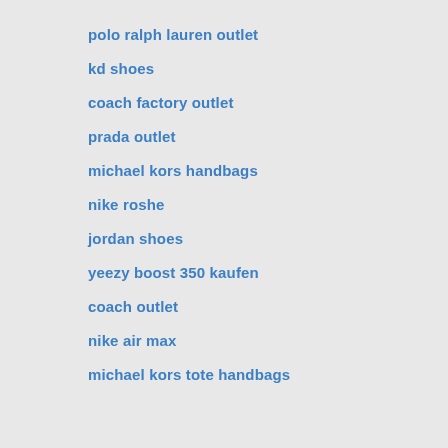polo ralph lauren outlet
kd shoes
coach factory outlet
prada outlet
michael kors handbags
nike roshe
jordan shoes
yeezy boost 350 kaufen
coach outlet
nike air max
michael kors tote handbags